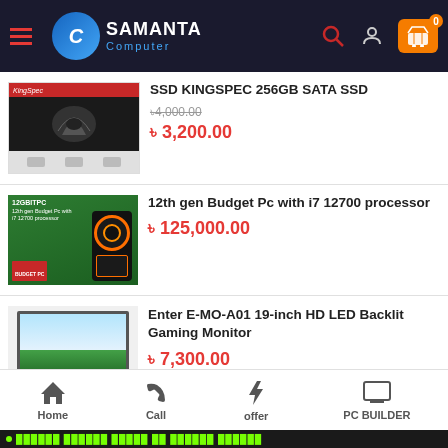Samanta Computer
SSD KINGSPEC 256GB SATA SSD
৳4,000.00 (strikethrough) ৳3,200.00
12th gen Budget Pc with i7 12700 processor
৳125,000.00
Enter E-MO-A01 19-inch HD LED Backlit Gaming Monitor
৳7,300.00
Home | Call | offer | PC BUILDER